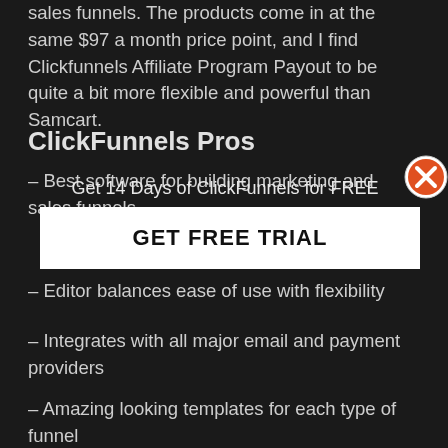sales funnels. The products come in at the same $97 a month price point, and I find Clickfunnels Affiliate Program Payout to be quite a bit more flexible and powerful than Samcart.
ClickFunnels Pros
– Best software for building marketing and sales funnels
Get 14 Days of ClickFunnels for FREE
GET FREE TRIAL
– Editor balances ease of use with flexibility
– Integrates with all major email and payment providers
– Amazing looking templates for each type of funnel